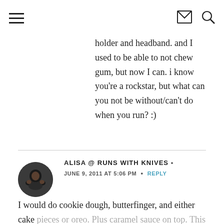[hamburger menu icon] [envelope icon] [search icon]
holder and headband. and I used to be able to not chew gum, but now I can. i know you’re a rockstar, but what can you not be without/can’t do when you run? :)
ALISA @ RUNS WITH KNIVES • JUNE 9, 2011 AT 5:06 PM • REPLY
I would do cookie dough, butterfinger, and either cake pieces or oreo. Plus caramel sauce on top. This is dairy free imagining, right?